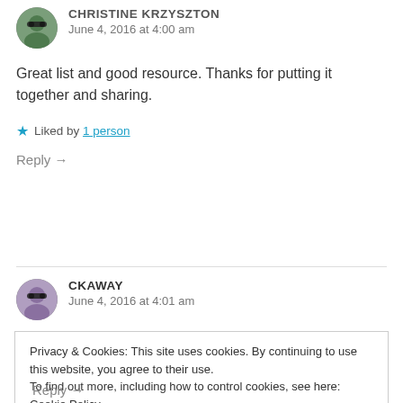[Figure (photo): Avatar photo of Christine Krzyszton - person wearing sunglasses]
CHRISTINE KRZYSZTON
June 4, 2016 at 4:00 am
Great list and good resource. Thanks for putting it together and sharing.
★ Liked by 1 person
Reply →
[Figure (photo): Avatar photo of ckaway - person wearing sunglasses]
CKAWAY
June 4, 2016 at 4:01 am
Privacy & Cookies: This site uses cookies. By continuing to use this website, you agree to their use.
To find out more, including how to control cookies, see here: Cookie Policy
Close and accept
Reply →